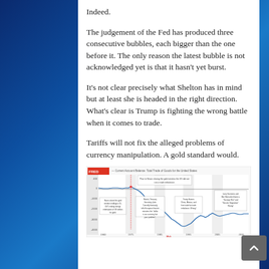Indeed.
The judgement of the Fed has produced three consecutive bubbles, each bigger than the one before it. The only reason the latest bubble is not acknowledged yet is that it hasn't yet burst.
It's not clear precisely what Shelton has in mind but at least she is headed in the right direction. What's clear is Trump is fighting the wrong battle when it comes to trade.
Tariffs will not fix the alleged problems of currency manipulation. A gold standard would.
[Figure (continuous-plot): FRED chart showing Current Account Balance: Total Trade of Goods for the United States. Annotations include: 'Prior to Nixon closing the gold window the US did not run a trade imbalance.', 'Nixon closed the gold window on August 15, 1971 ending foreign redemption of US dollars for gold.', 'Nixon's Treasury Secretary John Connally famously tells European finance ministers the "dollar is our currency but your problem".', 'Trump blames China, Mexico, and free trade for trade imbalance. Wrong!', 'Larry Summers and Ben Bernanke blame a "Savings Glut" and "Secular Stagnation". Wrong!']